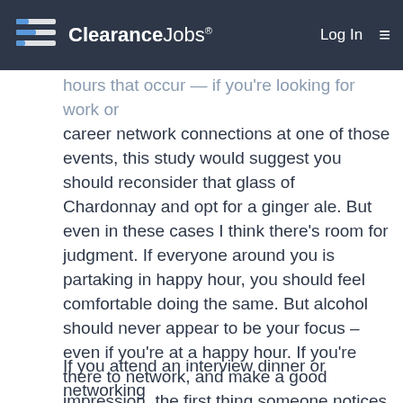ClearanceJobs® Log In ☰
hours that occur — if you're looking for work or career network connections at one of those events, this study would suggest you should reconsider that glass of Chardonnay and opt for a ginger ale. But even in these cases I think there's room for judgment. If everyone around you is partaking in happy hour, you should feel comfortable doing the same. But alcohol should never appear to be your focus – even if you're at a happy hour. If you're there to network, and make a good impression, the first thing someone notices about you shouldn't be the drink in your hand – or the slur in your speech, or stumble in your step.
If you attend an interview dinner or networking